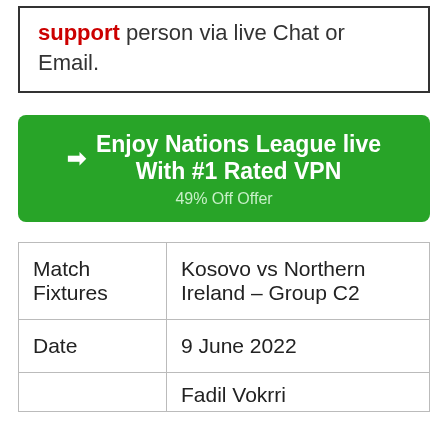support person via live Chat or Email.
[Figure (infographic): Green button: arrow → Enjoy Nations League live With #1 Rated VPN 49% Off Offer]
| Match Fixtures | Kosovo vs Northern Ireland – Group C2 |
| Date | 9 June 2022 |
|  | Fadil Vokrri |